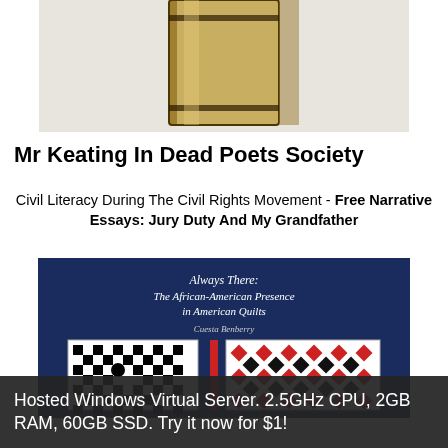[Figure (photo): Top portion of a book spine, golden/tan colored leather binding with dark decorative bands, on a light gray background]
Mr Keating In Dead Poets Society
Civil Literacy During The Civil Rights Movement - Free Narrative Essays: Jury Duty And My Grandfather
[Figure (photo): Book cover of 'Always There: The African-American Presence in American Quilts' by Cuesta Benberry. Navy blue cover showing quilt patterns including a black and white geometric quilt and a red, black and white checker pattern quilt.]
Hosted Windows Virtual Server. 2.5GHz CPU, 2GB RAM, 60GB SSD. Try it now for $1!